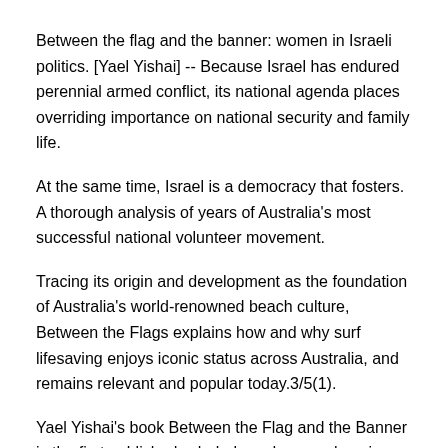Between the flag and the banner: women in Israeli politics. [Yael Yishai] -- Because Israel has endured perennial armed conflict, its national agenda places overriding importance on national security and family life.
At the same time, Israel is a democracy that fosters. A thorough analysis of years of Australia's most successful national volunteer movement.
Tracing its origin and development as the foundation of Australia's world-renowned beach culture, Between the Flags explains how and why surf lifesaving enjoys iconic status across Australia, and remains relevant and popular today.3/5(1).
Yael Yishai's book Between the Flag and the Banner is the first published scholarly and comprehensive analysis of relations between women and the Israeli state. The book develops the premise that Israeli women are caught between the contrasting loyalties exacted by the national state and feminism.